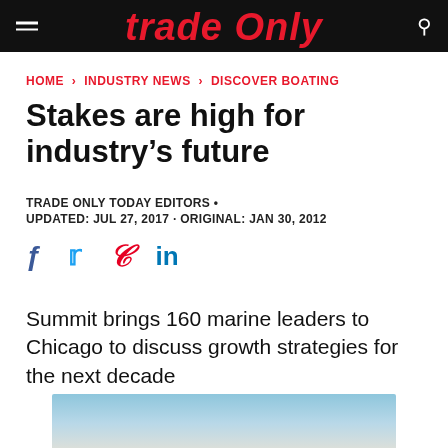Trade Only
HOME › INDUSTRY NEWS › DISCOVER BOATING
Stakes are high for industry's future
TRADE ONLY TODAY EDITORS •
UPDATED: JUL 27, 2017 · ORIGINAL: JAN 30, 2012
[Figure (infographic): Social media share icons: Facebook, Twitter, Pinterest, LinkedIn]
Summit brings 160 marine leaders to Chicago to discuss growth strategies for the next decade
[Figure (photo): Partial photo of people at a boating summit event]